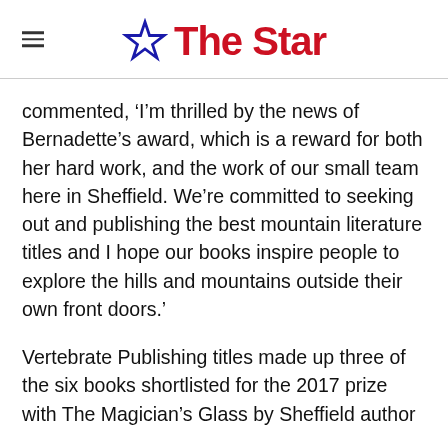The Star
commented, ‘I’m thrilled by the news of Bernadette’s award, which is a reward for both her hard work, and the work of our small team here in Sheffield. We’re committed to seeking out and publishing the best mountain literature titles and I hope our books inspire people to explore the hills and mountains outside their own front doors.’
Vertebrate Publishing titles made up three of the six books shortlisted for the 2017 prize with The Magician’s Glass by Sheffield author